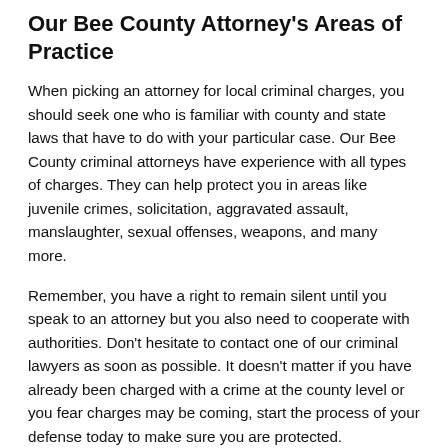Our Bee County Attorney's Areas of Practice
When picking an attorney for local criminal charges, you should seek one who is familiar with county and state laws that have to do with your particular case. Our Bee County criminal attorneys have experience with all types of charges. They can help protect you in areas like juvenile crimes, solicitation, aggravated assault, manslaughter, sexual offenses, weapons, and many more.
Remember, you have a right to remain silent until you speak to an attorney but you also need to cooperate with authorities. Don't hesitate to contact one of our criminal lawyers as soon as possible. It doesn't matter if you have already been charged with a crime at the county level or you fear charges may be coming, start the process of your defense today to make sure you are protected.
Strong DUI Defense
One of the most common charges at the county level is DUI...